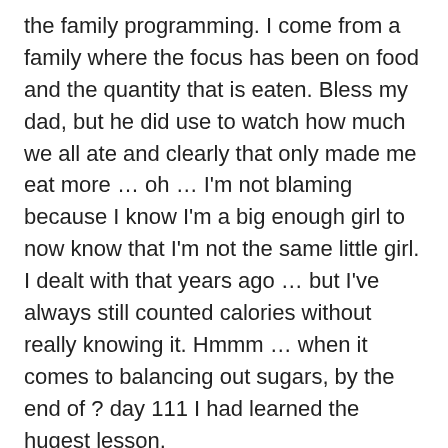the family programming. I come from a family where the focus has been on food and the quantity that is eaten. Bless my dad, but he did use to watch how much we all ate and clearly that only made me eat more … oh … I'm not blaming because I know I'm a big enough girl to now know that I'm not the same little girl. I dealt with that years ago … but I've always still counted calories without really knowing it. Hmmm … when it comes to balancing out sugars, by the end of ? day 111 I had learned the hugest lesson. I was freaking starving by the end of the day … so bad that I was trying to stick to the whole low gi thing and nothing was satisfying me. I can relate to that need to want to eat your own arm and so the cry for help began. I've also grown so much that I'm happy to admit when I need help, so relaxed a little and gave myself the well